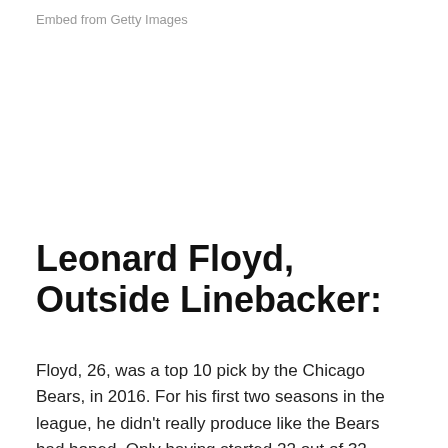Embed from Getty Images
Leonard Floyd, Outside Linebacker:
Floyd, 26, was a top 10 pick by the Chicago Bears, in 2016. For his first two seasons in the league, he didn't really produce like the Bears had hoped. Only having started 22 out of 32 games he was looking like a bust, but then 2018 came. In that season, he started all 16 games and had his best season in the NFL